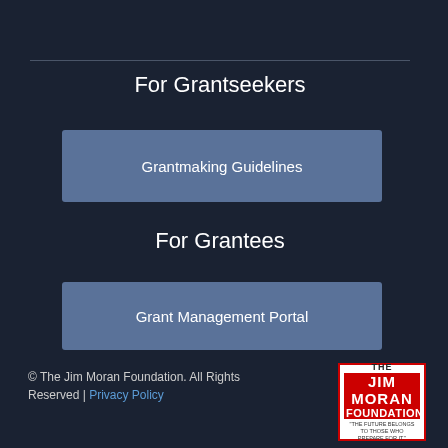For Grantseekers
Grantmaking Guidelines
For Grantees
Grant Management Portal
© The Jim Moran Foundation. All Rights Reserved | Privacy Policy
[Figure (logo): The Jim Moran Foundation logo with red background and white text, tagline: THE FUTURE BELONGS TO THOSE WHO PREPARE FOR IT.]